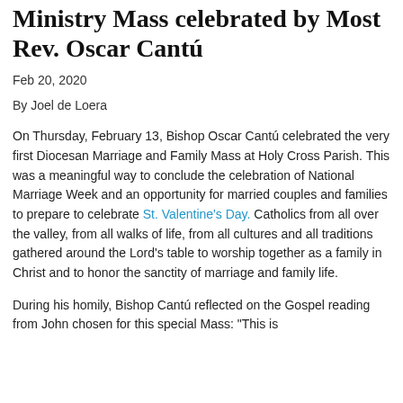Marriage and Family Ministry Mass celebrated by Most Rev. Oscar Cantú
Feb 20, 2020
By Joel de Loera
On Thursday, February 13, Bishop Oscar Cantú celebrated the very first Diocesan Marriage and Family Mass at Holy Cross Parish. This was a meaningful way to conclude the celebration of National Marriage Week and an opportunity for married couples and families to prepare to celebrate St. Valentine's Day. Catholics from all over the valley, from all walks of life, from all cultures and all traditions gathered around the Lord's table to worship together as a family in Christ and to honor the sanctity of marriage and family life.
During his homily, Bishop Cantú reflected on the Gospel reading from John chosen for this special Mass: "This is